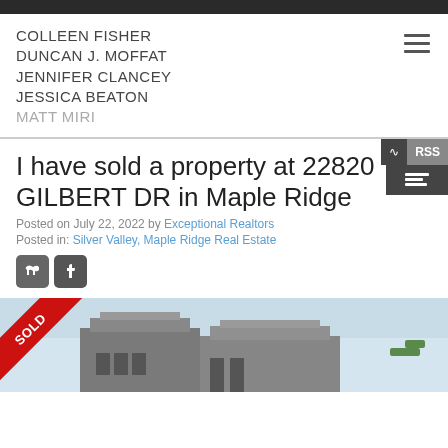COLLEEN FISHER
DUNCAN J. MOFFAT
JENNIFER CLANCEY
JESSICA BEATON
MATT MIRI
I have sold a property at 22820 GILBERT DR in Maple Ridge
Posted on July 22, 2022 by Exceptional Realtors
Posted in: Silver Valley, Maple Ridge Real Estate
[Figure (photo): Photo of sold property at 22820 Gilbert DR in Maple Ridge, with a red SOLD ribbon overlay in the upper-left corner. The image shows a house with sky background.]